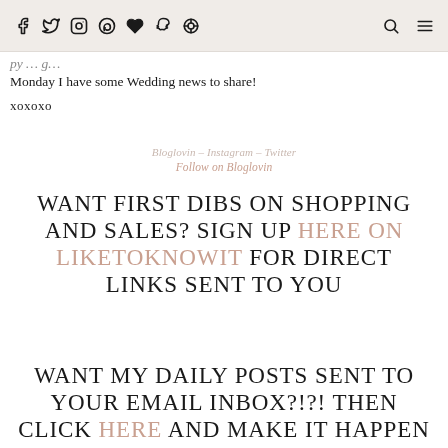Social media icon links: Facebook, Twitter, Instagram, Pinterest, Heart/Bloglovin, Snapchat, Locator; Search icon; Menu icon
...py ... g...
Monday I have some Wedding news to share!
xoxoxo
Bloglovin – Instagram – Twitter
Follow on Bloglovin
WANT FIRST DIBS ON SHOPPING AND SALES? SIGN UP HERE ON LIKETOKNOWIT FOR DIRECT LINKS SENT TO YOU
WANT MY DAILY POSTS SENT TO YOUR EMAIL INBOX?!?! THEN CLICK HERE AND MAKE IT HAPPEN